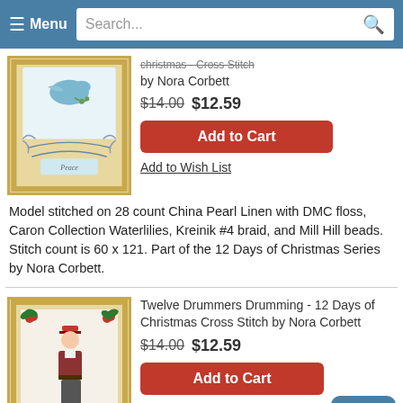Menu | Search
[Figure (photo): Cross stitch product image - dove/bird design in gold frame]
christmas - Cross Stitch by Nora Corbett
$14.00 $12.59
Add to Cart
Add to Wish List
Model stitched on 28 count China Pearl Linen with DMC floss, Caron Collection Waterlilies, Kreinik #4 braid, and Mill Hill beads. Stitch count is 60 x 121. Part of the 12 Days of Christmas Series by Nora Corbett.
[Figure (photo): Cross stitch product image - drummer figure in gold frame]
Twelve Drummers Drumming - 12 Days of Christmas Cross Stitch by Nora Corbett
$14.00 $12.59
Add to Cart
Top